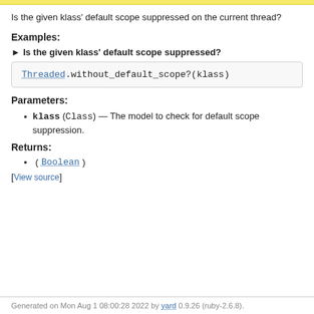Is the given klass' default scope suppressed on the current thread?
Examples:
► Is the given klass' default scope suppressed?
Threaded.without_default_scope?(klass)
Parameters:
klass (Class) — The model to check for default scope suppression.
Returns:
(Boolean)
[View source]
Generated on Mon Aug 1 08:00:28 2022 by yard 0.9.26 (ruby-2.6.8).